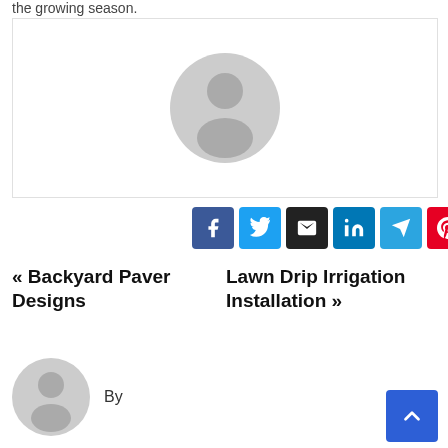the growing season.
[Figure (photo): Large placeholder avatar image with grey silhouette of a person on white background, inside a bordered box]
[Figure (infographic): Social share buttons: Facebook (dark blue), Twitter (light blue), Email (black), LinkedIn (blue), Telegram (teal), Pinterest (red)]
« Backyard Paver Designs
Lawn Drip Irrigation Installation »
By
[Figure (photo): Small placeholder avatar image with grey silhouette of a person]
[Figure (other): Blue scroll-to-top button with upward chevron arrow]